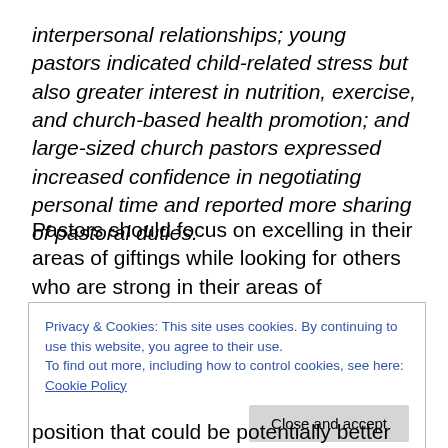interpersonal relationships; young pastors indicated child-related stress but also greater interest in nutrition, exercise, and church-based health promotion; and large-sized church pastors expressed increased confidence in negotiating personal time and reported more sharing of pastoral duties.
Pastors should focus on excelling in their areas of giftings while looking for others who are strong in their areas of weakness. This is contrary to academia that says to turn your weaknesses into strengths. I disagree and submit
Privacy & Cookies: This site uses cookies. By continuing to use this website, you agree to their use.
To find out more, including how to control cookies, see here: Cookie Policy
position that could be potentially better than you in an